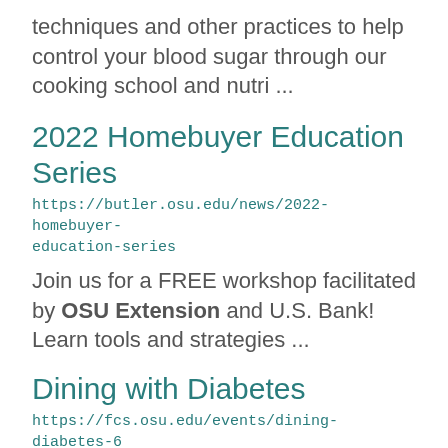techniques and other practices to help control your blood sugar through our cooking school and nutri ...
2022 Homebuyer Education Series
https://butler.osu.edu/news/2022-homebuyer-education-series
Join us for a FREE workshop facilitated by OSU Extension and U.S. Bank! Learn tools and strategies ...
Dining with Diabetes
https://fcs.osu.edu/events/dining-diabetes-6
Dining with Diabetes is a cooking school and nutrition education program designed